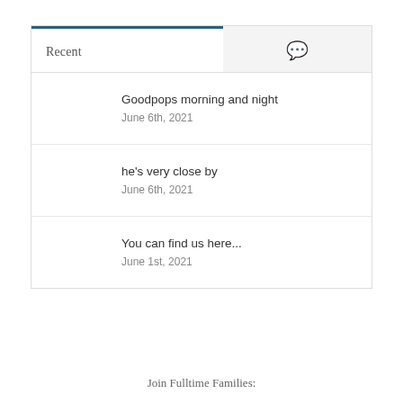Recent
Goodpops morning and night
June 6th, 2021
he's very close by
June 6th, 2021
You can find us here...
June 1st, 2021
Join Fulltime Families: